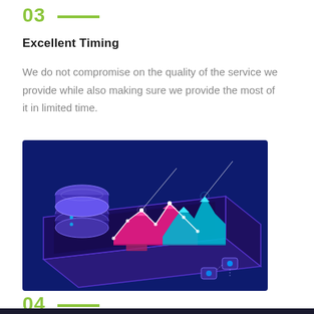03
Excellent Timing
We do not compromise on the quality of the service we provide while also making sure we provide the most of it in limited time.
[Figure (illustration): Isometric illustration of a data analytics dashboard on a tablet device with glowing 3D area charts in pink/magenta and cyan/teal colors, a stacked database cylinder on the left, connected devices, and a dark blue/purple background.]
04